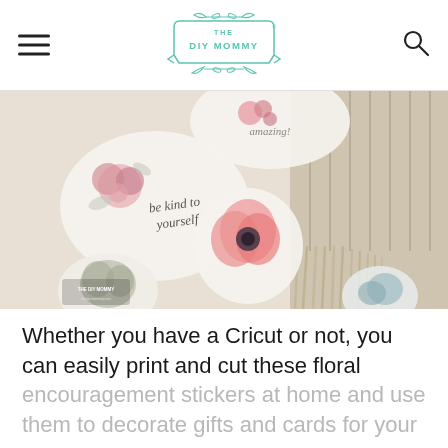THE DIY MOMMY
[Figure (photo): Flatlay photo showing decorative floral encouragement stickers on a cream background next to a woven macrame or fringe textile. Stickers have watercolor flowers and script text including 'be kind to yourself'. The DIY Mommy watermark is visible in the lower left.]
Whether you have a Cricut or not, you can easily print and cut these floral encouragement stickers at home and use them to decorate gifts and cards for your